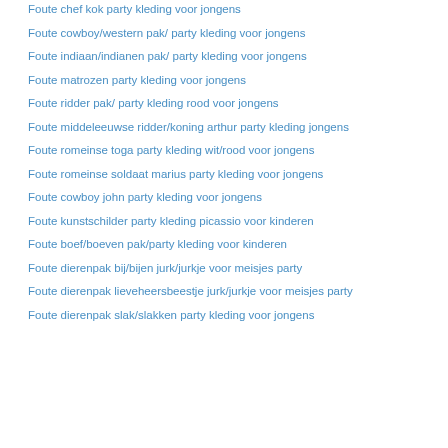Foute chef kok party kleding voor jongens
Foute cowboy/western pak/ party kleding voor jongens
Foute indiaan/indianen pak/ party kleding voor jongens
Foute matrozen party kleding voor jongens
Foute ridder pak/ party kleding rood voor jongens
Foute middeleeuwse ridder/koning arthur party kleding jongens
Foute romeinse toga party kleding wit/rood voor jongens
Foute romeinse soldaat marius party kleding voor jongens
Foute cowboy john party kleding voor jongens
Foute kunstschilder party kleding picassio voor kinderen
Foute boef/boeven pak/party kleding voor kinderen
Foute dierenpak bij/bijen jurk/jurkje voor meisjes party
Foute dierenpak lieveheersbeestje jurk/jurkje voor meisjes party
Foute dierenpak slak/slakken party kleding voor jongens